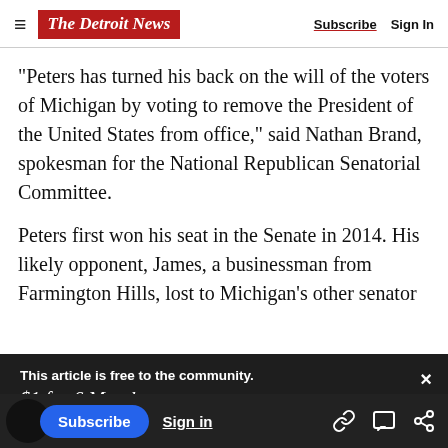The Detroit News — Subscribe | Sign In
"Peters has turned his back on the will of the voters of Michigan by voting to remove the President of the United States from office," said Nathan Brand, spokesman for the National Republican Senatorial Committee.
Peters first won his seat in the Senate in 2014. His likely opponent, James, a businessman from Farmington Hills, lost to Michigan's other senator
This article is free to the community.
$1 for 6 Months.
Subscribe now
nes raised a $1 million more than Peters did

the first three months of 2019, according to
a nearly $2 million advantage in money available